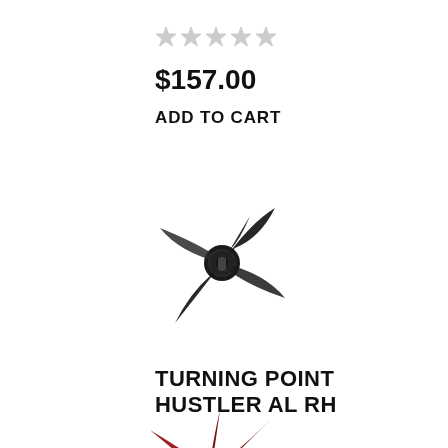[Figure (other): Five empty star rating icons (grey/unfilled) for the first product]
$157.00
ADD TO CART
[Figure (photo): Black 4-blade boat propeller (Turning Point Hustler AL RH) photographed on white background]
TURNING POINT HUSTLER AL RH
[Figure (other): Five empty star rating icons (grey/unfilled) for the second product]
$157.00
ADD TO CART
[Figure (photo): Partial view of a dark red/maroon boat propeller at the bottom of the page, cropped]